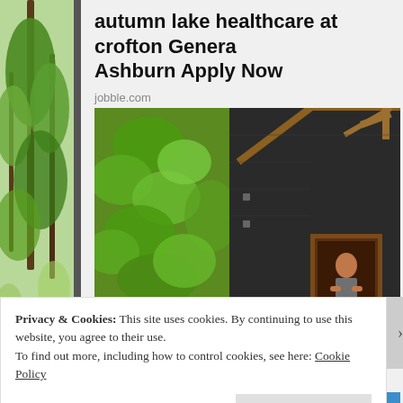[Figure (photo): Vertical green garden/nature photo strip on the left side of the page]
autumn lake healthcare at crofton General Ashburn Apply Now
jobble.com
[Figure (photo): Photo of a boy standing in the doorway of a structure covered in black tarpaulin with green leafy vines on the left side]
Privacy & Cookies: This site uses cookies. By continuing to use this website, you agree to their use.
To find out more, including how to control cookies, see here: Cookie Policy
Close and accept